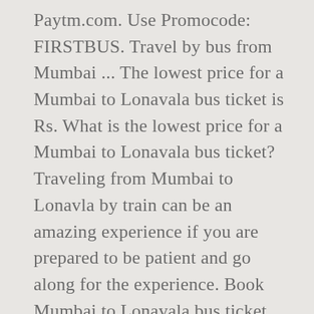Paytm.com. Use Promocode: FIRSTBUS. Travel by bus from Mumbai ... The lowest price for a Mumbai to Lonavala bus ticket is Rs. What is the lowest price for a Mumbai to Lonavala bus ticket? Traveling from Mumbai to Lonavla by train can be an amazing experience if you are prepared to be patient and go along for the experience. Book Mumbai to Lonavala bus ticket online from 13 bus operators with 52 bus at ixigo.com. Don't think twice, book your bus ticket online today. Stay assured with 3S of SAFETY. Book Lonavala To Mumbai Bus Tickets online with Bestbus.in at low price. When does the first bus leave from Mumbai to Lonavala? mumbai to lonavala & back to mumbai (same